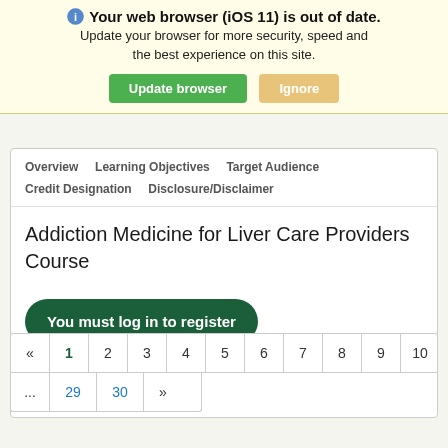Your web browser (iOS 11) is out of date. Update your browser for more security, speed and the best experience on this site. Update browser | Ignore
Overview   Learning Objectives   Target Audience   Credit Designation   Disclosure/Disclaimer
Addiction Medicine for Liver Care Providers Course
You must log in to register
More Information
« 1 2 3 4 5 6 7 8 9 10 ... 29 30 »